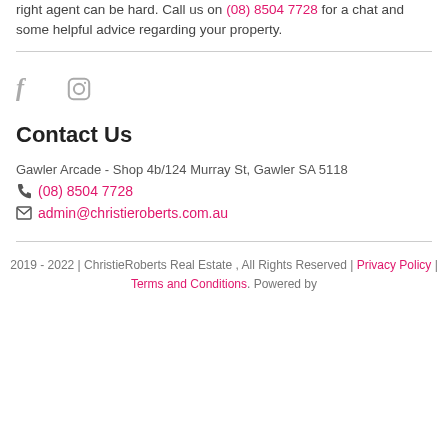right agent can be hard. Call us on (08) 8504 7728 for a chat and some helpful advice regarding your property.
[Figure (other): Social media icons: Facebook (f) and Instagram (camera icon)]
Contact Us
Gawler Arcade - Shop 4b/124 Murray St, Gawler SA 5118
(08) 8504 7728
admin@christieroberts.com.au
2019 - 2022 | ChristieRoberts Real Estate , All Rights Reserved | Privacy Policy | Terms and Conditions. Powered by